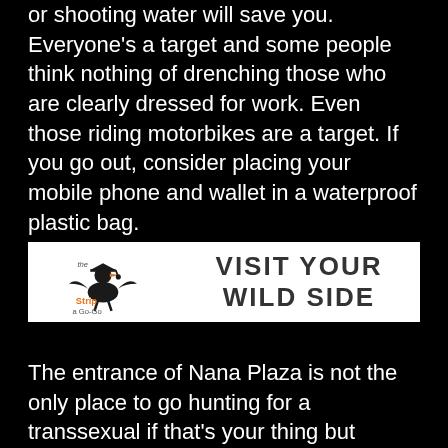amount of reasoning or pleading for those throwing or shooting water will save you. Everyone's a target and some people think nothing of drenching those who are clearly dressed for work. Even those riding motorbikes are a target. If you go out, consider placing your mobile phone and wallet in a waterproof plastic bag.
[Figure (logo): Banner advertisement for 'The Strip a Go-Go' with logo on left and text 'VISIT YOUR WILD SIDE' on right, white background.]
The entrance of Nana Plaza is not the only place to go hunting for a transsexual if that's your thing but you're averse to paying a barfine. A number can be seen loitering outside the Thermae too. Are they as